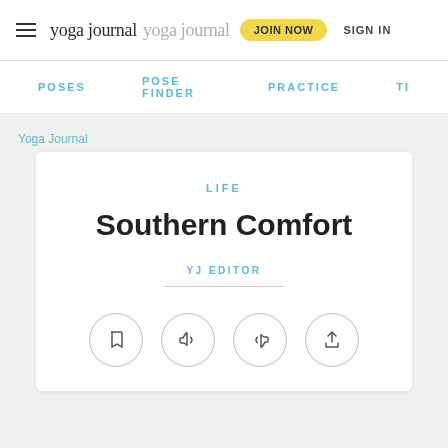yoga journal yoga journal JOIN NOW SIGN IN
POSES   POSE FINDER   PRACTICE   TI
Yoga Journal
LIFE
Southern Comfort
YJ EDITOR